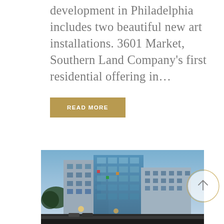development in Philadelphia includes two beautiful new art installations. 3601 Market, Southern Land Company's first residential offering in...
READ MORE
[Figure (photo): Modern multi-story residential apartment building photographed at dusk/evening with street lights and trees in foreground. Glass and concrete facade with multiple floors.]